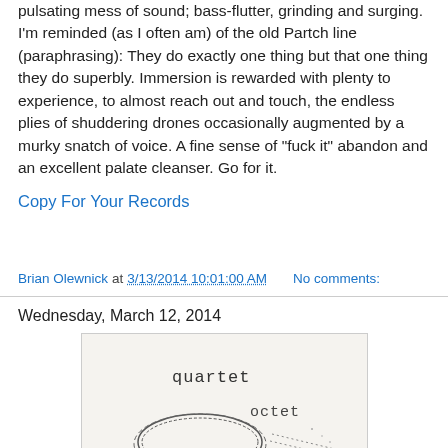pulsating mess of sound; bass-flutter, grinding and surging. I'm reminded (as I often am) of the old Partch line (paraphrasing): They do exactly one thing but that one thing they do superbly. Immersion is rewarded with plenty to experience, to almost reach out and touch, the endless plies of shuddering drones occasionally augmented by a murky snatch of voice. A fine sense of "fuck it" abandon and an excellent palate cleanser. Go for it.
Copy For Your Records
Brian Olewnick at 3/13/2014 10:01:00 AM    No comments:
Wednesday, March 12, 2014
[Figure (illustration): Hand-drawn sketch showing the words 'quartet' and 'octet' with circular scribbled lines, resembling a record label or album art drawing on light paper.]